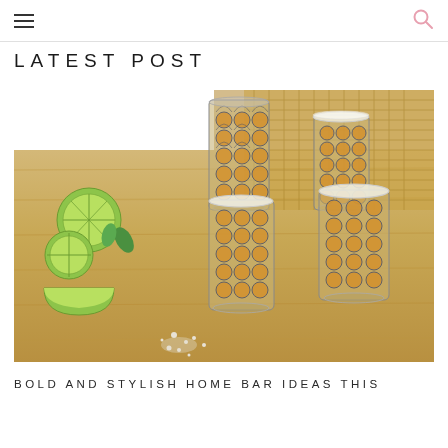≡  🔍
LATEST POST
[Figure (photo): Four decorative glasses with gold circular/Moroccan pattern and salt-rimmed edges, arranged on a wooden cutting board with lime slices and scattered salt. The glasses contain clear liquid suggesting margaritas or cocktails.]
BOLD AND STYLISH HOME BAR IDEAS THIS